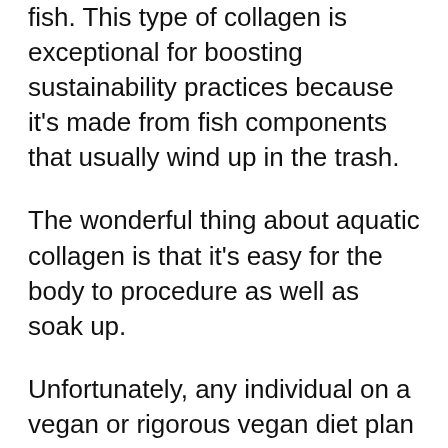fish. This type of collagen is exceptional for boosting sustainability practices because it's made from fish components that usually wind up in the trash.
The wonderful thing about aquatic collagen is that it's easy for the body to procedure as well as soak up.
Unfortunately, any individual on a vegan or rigorous vegan diet plan can not take collagen supplements due to the fact that it's always sourced from some sort of pet item.
Unlike standard gelatin, bovine collagen as well as marine collagen do not consist of any pork-derived products so they are suitable